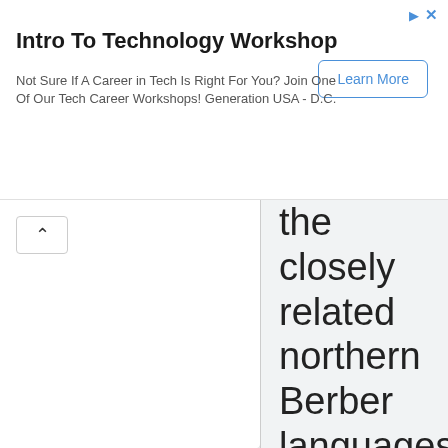[Figure (screenshot): Ad banner for Intro To Technology Workshop by Generation USA - D.C. with a Learn More button]
the closely related northern Berber languages into a single standard, Tamazight. Among